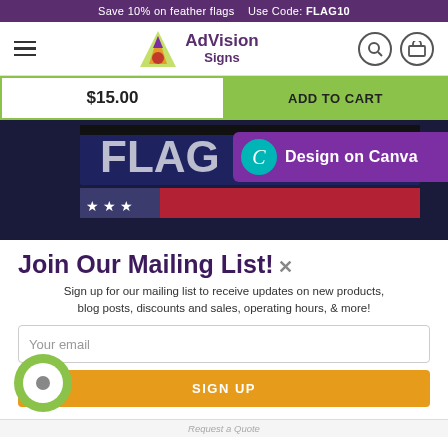Save 10% on feather flags   Use Code: FLAG10
[Figure (logo): AdVision Signs logo with triangle icon in purple/orange/red, hamburger menu icon, search and cart icons]
$15.00
ADD TO CART
[Figure (photo): Close-up photo of printed patriotic signs with stars and stripes. Canva design button overlay in purple.]
Join Our Mailing List!
Sign up for our mailing list to receive updates on new products, blog posts, discounts and sales, operating hours, & more!
Your email
SIGN UP